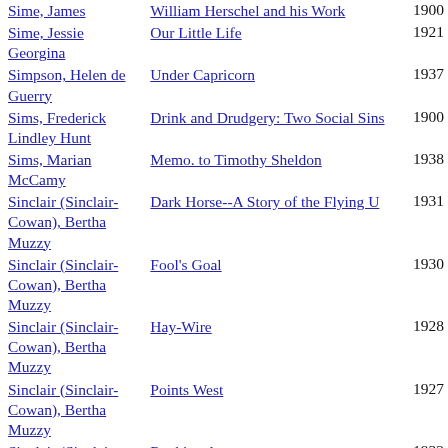| Author | Title | Year |
| --- | --- | --- |
| Sime, James | William Herschel and his Work | 1900 |
| Sime, Jessie Georgina | Our Little Life | 1921 |
| Simpson, Helen de Guerry | Under Capricorn | 1937 |
| Sims, Frederick Lindley Hunt | Drink and Drudgery: Two Social Sins | 1900 |
| Sims, Marian McCamy | Memo. to Timothy Sheldon | 1938 |
| Sinclair (Sinclair-Cowan), Bertha Muzzy | Dark Horse--A Story of the Flying U | 1931 |
| Sinclair (Sinclair-Cowan), Bertha Muzzy | Fool's Goal | 1930 |
| Sinclair (Sinclair-Cowan), Bertha Muzzy | Hay-Wire | 1928 |
| Sinclair (Sinclair-Cowan), Bertha Muzzy | Points West | 1927 |
| Sinclair (Sinclair-Cowan), Bertha Muzzy | Rocking Arrow | 1932 |